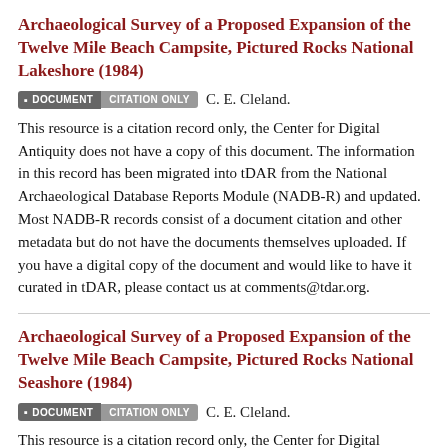Archaeological Survey of a Proposed Expansion of the Twelve Mile Beach Campsite, Pictured Rocks National Lakeshore (1984)
DOCUMENT  CITATION ONLY  C. E. Cleland.
This resource is a citation record only, the Center for Digital Antiquity does not have a copy of this document. The information in this record has been migrated into tDAR from the National Archaeological Database Reports Module (NADB-R) and updated. Most NADB-R records consist of a document citation and other metadata but do not have the documents themselves uploaded. If you have a digital copy of the document and would like to have it curated in tDAR, please contact us at comments@tdar.org.
Archaeological Survey of a Proposed Expansion of the Twelve Mile Beach Campsite, Pictured Rocks National Seashore (1984)
DOCUMENT  CITATION ONLY  C. E. Cleland.
This resource is a citation record only, the Center for Digital Antiquity